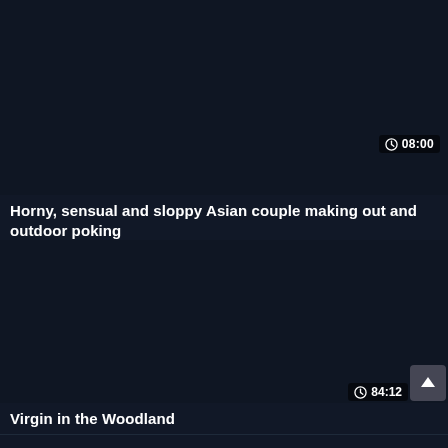[Figure (screenshot): Video thumbnail card 1 - dark navy background, duration badge showing 08:00]
Horny, sensual and sloppy Asian couple making out and outdoor poking
[Figure (screenshot): Video thumbnail card 2 - dark navy background, duration badge showing 84:12 with scroll-up button]
Virgin in the Woodland